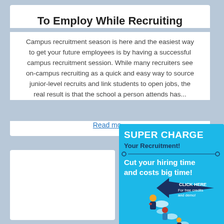To Employ While Recruiting
Campus recruitment season is here and the easiest way to get your future employees is by having a successful campus recruitment session. While many recruiters see on-campus recruiting as a quick and easy way to source junior-level recruits and link students to open jobs, the real result is that the school a person attends has...
Read mo...
[Figure (illustration): Advertisement banner with cyan/blue background showing 'SUPER CHARGE Your Recruitment! Cut your hiring time and costs big time!' with a dark blue arrow pointing left labeled 'CLICK HERE For free credits and demo!' and illustrated rocket-powered business people flying.]